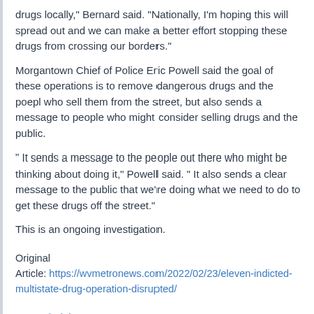drugs locally," Bernard said. "Nationally, I'm hoping this will spread out and we can make a better effort stopping these drugs from crossing our borders."
Morgantown Chief of Police Eric Powell said the goal of these operations is to remove dangerous drugs and the poepl who sell them from the street, but also sends a message to people who might consider selling drugs and the public.
" It sends a message to the people out there who might be thinking about doing it," Powell said. " It also sends a clear message to the public that we're doing what we need to do to get these drugs off the street."
This is an ongoing investigation.
Original
Article: https://wvmetronews.com/2022/02/23/eleven-indicted-multistate-drug-operation-disrupted/
West Virginia